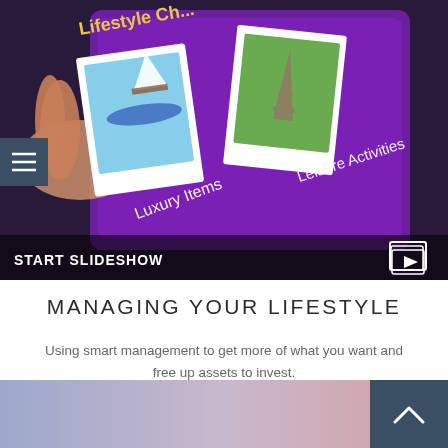[Figure (screenshot): Hero image showing a tablet displaying a purple screen with 'Lifestyle Ch...' text, polaroid photos of a sailboat and the Eiffel Tower, with text 'Luxury Items' and 'Leisure Activities'. A hand is touching the screen. Image has a dark overlay bar at bottom with 'START SLIDESHOW' text and a slideshow icon.]
MANAGING YOUR LIFESTYLE
Using smart management to get more of what you want and free up assets to invest.
[Figure (illustration): Gradient background blending from blue-purple on the left to pink-rose on the right, with a dark navy back-to-top button in the bottom right corner showing an upward chevron.]